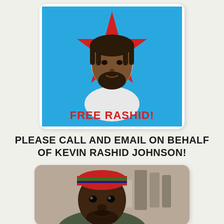[Figure (illustration): Stylized poster illustration of a man with dreadlocks and beard on a blue background with a red star, with red text reading FREE RASHID!]
PLEASE CALL AND EMAIL ON BEHALF OF KEVIN RASHID JOHNSON!
[Figure (photo): Photograph of Kevin Rashid Johnson, a Black man wearing a colorful knit cap in red, green, and black, looking directly at the camera in an indoor setting.]